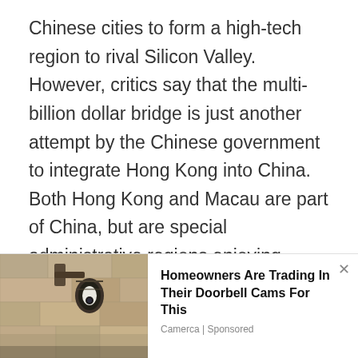Chinese cities to form a high-tech region to rival Silicon Valley. However, critics say that the multi-billion dollar bridge is just another attempt by the Chinese government to integrate Hong Kong into China. Both Hong Kong and Macau are part of China, but are special administrative regions enjoying certain levels of autonomy with their own governments, legal systems, and policies.
[Figure (photo): Advertisement image showing an outdoor security camera mounted on a wall]
Homeowners Are Trading In Their Doorbell Cams For This
Camerca | Sponsored